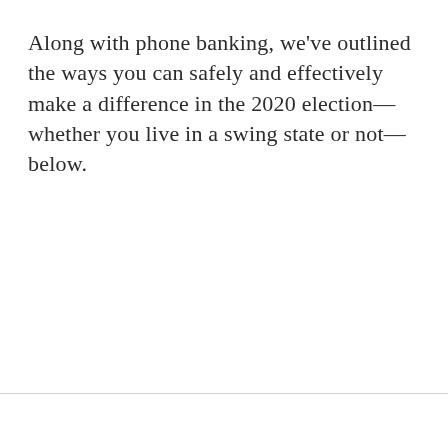Along with phone banking, we've outlined the ways you can safely and effectively make a difference in the 2020 election—whether you live in a swing state or not—below.